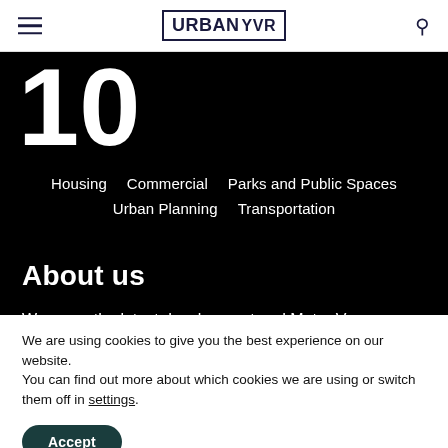Urban YVR
Housing   Commercial   Parks and Public Spaces   Urban Planning   Transportation
About us
We cover the latest development and Metro Vancouver real estate news, including Burnaby, Richmond, Coquitlam, North Van, Surrey and more.
We are using cookies to give you the best experience on our website.
You can find out more about which cookies we are using or switch them off in settings.
Accept